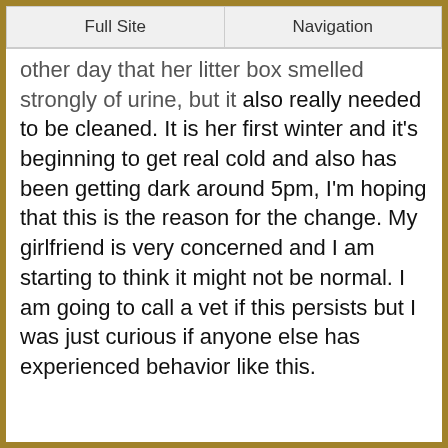Full Site | Navigation
other day that her litter box smelled strongly of urine, but it also really needed to be cleaned. It is her first winter and it's beginning to get real cold and also has been getting dark around 5pm, I'm hoping that this is the reason for the change. My girlfriend is very concerned and I am starting to think it might not be normal. I am going to call a vet if this persists but I was just curious if anyone else has experienced behavior like this.